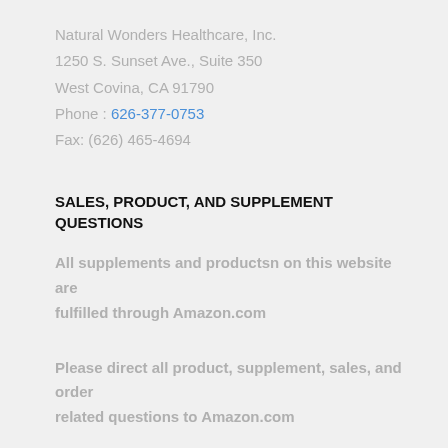Natural Wonders Healthcare, Inc.
1250 S. Sunset Ave., Suite 350
West Covina, CA 91790
Phone : 626-377-0753
Fax: (626) 465-4694
SALES, PRODUCT, AND SUPPLEMENT QUESTIONS
All supplements and productsn on this website are fulfilled through Amazon.com
Please direct all product, supplement, sales, and order related questions to Amazon.com